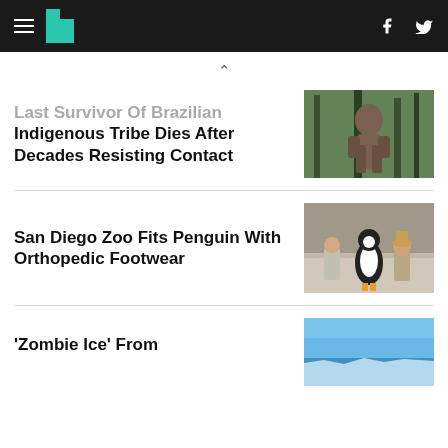HuffPost navigation with hamburger menu, logo, Facebook and Twitter icons
^ (caret/up arrow)
Last Survivor Of Brazilian Indigenous Tribe Dies After Decades Resisting Contact
[Figure (photo): A person (indigenous man) photographed in a jungle/forest setting, seen from behind or side, among trees.]
San Diego Zoo Fits Penguin With Orthopedic Footwear
[Figure (photo): Two zoo keepers kneeling beside a penguin (black and white) at the San Diego Zoo.]
'Zombie Ice' From
[Figure (photo): Blue sky with what appears to be ice or glacier, partial image cut off at bottom of page.]